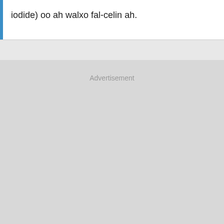iodide) oo ah walxo fal-celin ah.
Advertisement